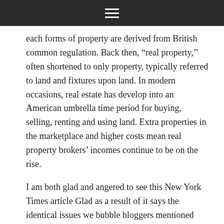☰
each forms of property are derived from British common regulation. Back then, "real property," often shortened to only property, typically referred to land and fixtures upon land. In modern occasions, real estate has develop into an American umbrella time period for buying, selling, renting and using land. Extra properties in the marketplace and higher costs mean real property brokers' incomes continue to be on the rise.
I am both glad and angered to see this New York Times article Glad as a result of it says the identical issues we bubble bloggers mentioned (and still do) for therefore long –